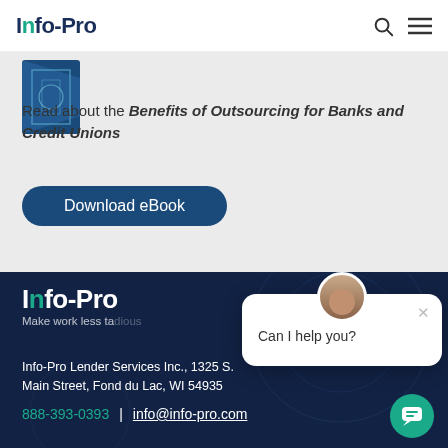Info-Pro
[Figure (illustration): Thumbnail of eBook cover with blue geometric pattern]
Read about the Benefits of Outsourcing for Banks and Credit Unions
Download eBook
[Figure (logo): Info-Pro logo in white with teal accent, tagline: Make work less ta[dious]]
Info-Pro Lender Services Inc., 1325 S. Main Street, Fond du Lac, WI 54935
888-393-0393 | info@info-pro.com
[Figure (screenshot): Chat widget popup with avatar and message: Can I help you?]